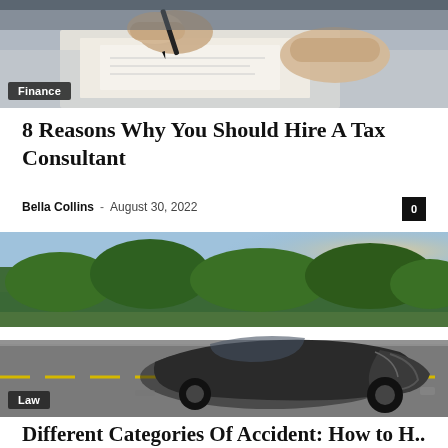[Figure (photo): Close-up of a person's hands signing a document with a pen on a desk, viewed from above]
Finance
8 Reasons Why You Should Hire A Tax Consultant
Bella Collins – August 30, 2022
[Figure (photo): A severely damaged black car on a road, with trees in the background, depicting a car accident scene]
Law
Different Categories Of Accident: How to H...